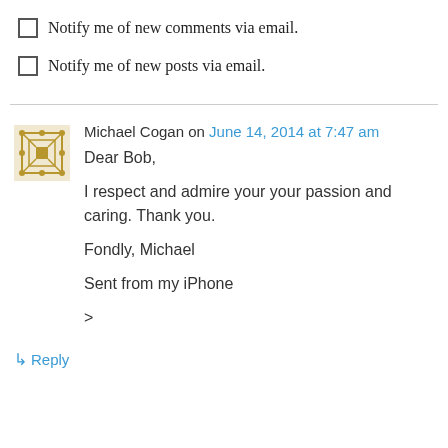Notify me of new comments via email.
Notify me of new posts via email.
Michael Cogan on June 14, 2014 at 7:47 am
Dear Bob,

I respect and admire your your passion and caring. Thank you.

Fondly, Michael

Sent from my iPhone

>
↳ Reply